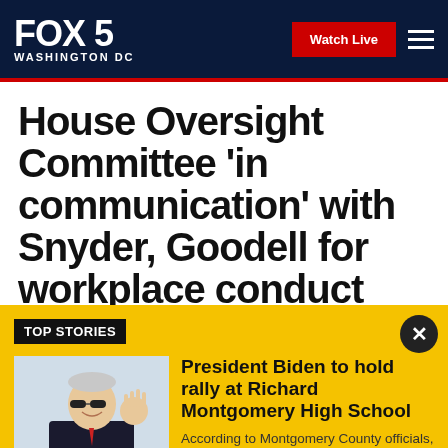FOX 5 WASHINGTON DC
House Oversight Committee 'in communication' with Snyder, Goodell for workplace conduct hearing
TOP STORIES
President Biden to hold rally at Richard Montgomery High School
According to Montgomery County officials, Biden will visit Richard Montgomery High School in Rockville between 4-8 p.m.